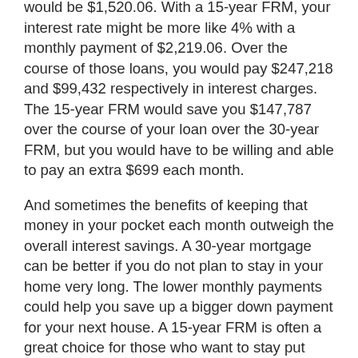would be $1,520.06. With a 15-year FRM, your interest rate might be more like 4% with a monthly payment of $2,219.06. Over the course of those loans, you would pay $247,218 and $99,432 respectively in interest charges. The 15-year FRM would save you $147,787 over the course of your loan over the 30-year FRM, but you would have to be willing and able to pay an extra $699 each month.
And sometimes the benefits of keeping that money in your pocket each month outweigh the overall interest savings. A 30-year mortgage can be better if you do not plan to stay in your home very long. The lower monthly payments could help you save up a bigger down payment for your next house. A 15-year FRM is often a great choice for those who want to stay put long-term or for those who have already met important financial goals and are ready to pay off their mortgage quicker. It can also be beneficial for those who are close to retirement. Having the house paid off before retirement can be a huge relief for those living on a fixed income.
If you still have questions about which mortgage choice is best for you, give us a call at B2 Funding Corporation at